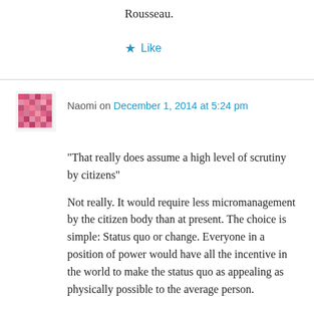Rousseau.
★ Like
Naomi on December 1, 2014 at 5:24 pm
“That really does assume a high level of scrutiny by citizens”
Not really. It would require less micromanagement by the citizen body than at present. The choice is simple: Status quo or change. Everyone in a position of power would have all the incentive in the world to make the status quo as appealing as physically possible to the average person.
“As ballot to be a have will tend (for the reader) to